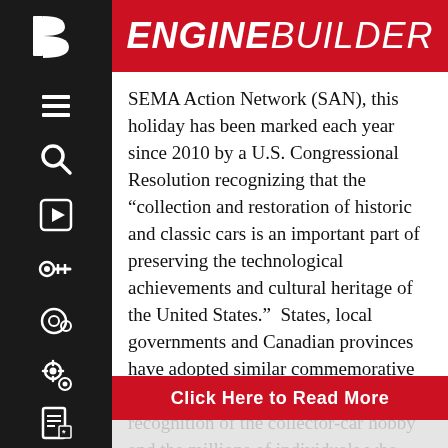[Figure (logo): Babcox B logo in white on dark sidebar]
ENGINE BUILDER
SEMA Action Network (SAN), this holiday has been marked each year since 2010 by a U.S. Congressional Resolution recognizing that the “collection and restoration of historic and classic cars is an important part of preserving the technological achievements and cultural heritage of the United States.”  States, local governments and Canadian provinces have adopted similar commemorative declarations, making it an international recognition of the collector-car hobby and the millions of individuals who support it.
Click Here to Read More